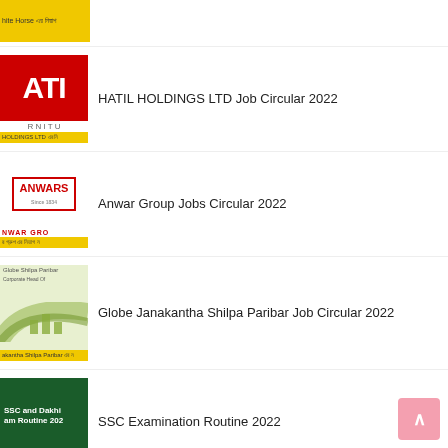[Figure (screenshot): Partial thumbnail of White Horse job circular - yellow banner with Bengali text]
[Figure (screenshot): HATIL HOLDINGS LTD logo thumbnail with red background, white ATI letters, yellow footer strip with Bengali text]
HATIL HOLDINGS LTD Job Circular 2022
[Figure (screenshot): Anwar Group logo thumbnail with red bordered badge showing ANWARS text, yellow footer strip with Bengali text]
Anwar Group Jobs Circular 2022
[Figure (screenshot): Globe Janakantha Shilpa Paribar thumbnail with green gradient design, Corporate Head Off text, yellow footer strip]
Globe Janakantha Shilpa Paribar Job Circular 2022
[Figure (screenshot): SSC and Dakhil Exam Routine 2022 thumbnail with dark green background and white text]
SSC Examination Routine 2022